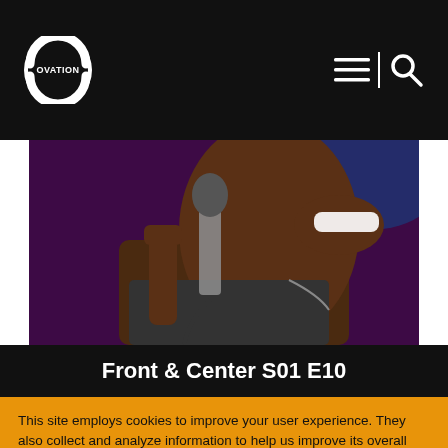Ovation TV - Header with logo and navigation icons
[Figure (photo): Close-up photo of a Black male singer performing with a microphone, purple background lighting, wearing a gray jacket]
Front & Center S01 E10
This site employs cookies to improve your user experience. They also collect and analyze information to help us improve its overall performance. Learn more in our Privacy Policy. By continuing to use this site or by closing this banner, you consent to our use of these cookies.
LEARN MORE | ACCEPT